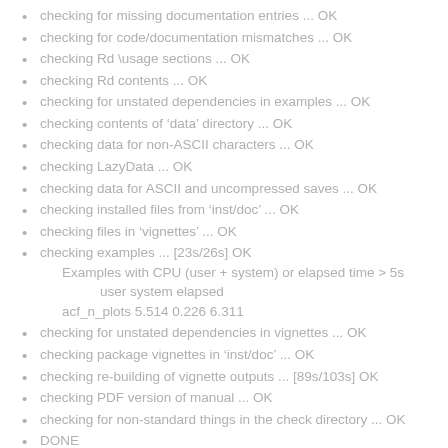checking for missing documentation entries ... OK
checking for code/documentation mismatches ... OK
checking Rd \usage sections ... OK
checking Rd contents ... OK
checking for unstated dependencies in examples ... OK
checking contents of ‘data’ directory ... OK
checking data for non-ASCII characters ... OK
checking LazyData ... OK
checking data for ASCII and uncompressed saves ... OK
checking installed files from ‘inst/doc’ ... OK
checking files in ‘vignettes’ ... OK
checking examples ... [23s/26s] OK
Examples with CPU (user + system) or elapsed time > 5s
     user system elapsed
acf_n_plots 5.514 0.226 6.311
checking for unstated dependencies in vignettes ... OK
checking package vignettes in ‘inst/doc’ ... OK
checking re-building of vignette outputs ... [89s/103s] OK
checking PDF version of manual ... OK
checking for non-standard things in the check directory ... OK
DONE
Status: OK